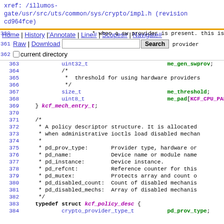xref: /illumos-gate/usr/src/uts/common/sys/crypto/impl.h (revision cd964fce)
Home | History | Annotate | Line# | Scopes# | Navigate#
360  * when a sw provider is present. this is
Raw | Download  [search box] Search  provider
2 current directory
363          uint32_t                        me_gen_swprov;
364          /*
365           * threshold for using hardware providers
366           */
367          size_t                          me_threshold;
368          uint8_t                         me_pad[KCF_CPU_PAD
369  } kcf_mech_entry_t;
370
371      /*
372       * A policy descriptor structure. It is allocated
373       * when administrative ioctls load disabled mechan
374       *
375       * pd_prov_type:       Provider type, hardware or
376       * pd_name:            Device name or module name
377       * pd_instance:        Device instance.
378       * pd_refcnt:          Reference counter for this
379       * pd_mutex:           Protects array and count o
380       * pd_disabled_count:  Count of disabled mechanis
381       * pd_disabled_mechs:  Array of disabled mechanis
382       */
383  typedef struct kcf_policy_desc {
384          crypto_provider_type_t          pd_prov_type;